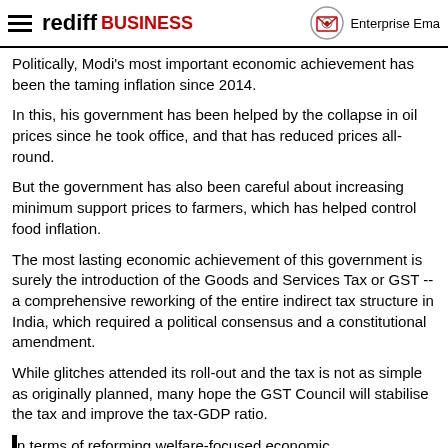rediff BUSINESS | Enterprise Ema...
Politically, Modi's most important economic achievement has been the taming inflation since 2014.
In this, his government has been helped by the collapse in oil prices since he took office, and that has reduced prices all-round.
But the government has also been careful about increasing minimum support prices to farmers, which has helped control food inflation.
The most lasting economic achievement of this government is surely the introduction of the Goods and Services Tax or GST -- a comprehensive reworking of the entire indirect tax structure in India, which required a political consensus and a constitutional amendment.
While glitches attended its roll-out and the tax is not as simple as originally planned, many hope the GST Council will stabilise the tax and improve the tax-GDP ratio.
In terms of reforming welfare-focused economic...